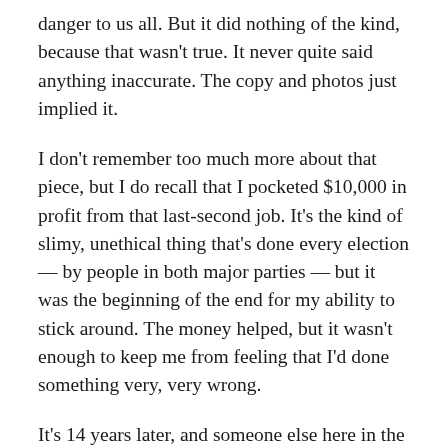danger to us all. But it did nothing of the kind, because that wasn't true. It never quite said anything inaccurate. The copy and photos just implied it.
I don't remember too much more about that piece, but I do recall that I pocketed $10,000 in profit from that last-second job. It's the kind of slimy, unethical thing that's done every election — by people in both major parties — but it was the beginning of the end for my ability to stick around. The money helped, but it wasn't enough to keep me from feeling that I'd done something very, very wrong.
It's 14 years later, and someone else here in the state did something that was similarly very, very wrong this week. I don't know who was paid to produce this piece. All I know is that it's a lie. You might be interested in looking at how such lies work.
Alabama voted overwhelmingly for Romney this week.